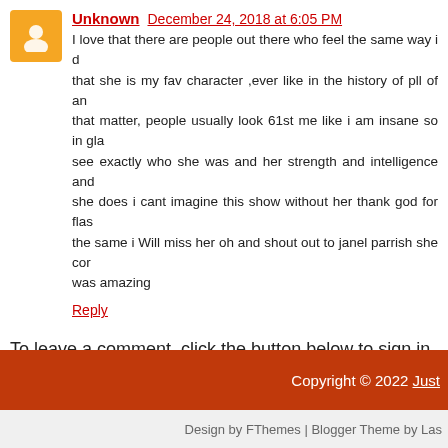Unknown  December 24, 2018 at 6:05 PM
I love that there are people out there who feel the same way i do that she is my fav character ,ever like in the history of pll of anything that matter, people usually look 61st me like i am insane so in glad to see exactly who she was and her strength and intelligence and what she does i cant imagine this show without her thank god for flashbacks the same i Will miss her oh and shout out to janel parrish she com was amazing
Reply
To leave a comment, click the button below to sign in with G
SIGN IN WITH GOOGLE
Subscribe to: Post Comments (Atom)
Copyright © 2022 Just
Design by FThemes | Blogger Theme by Las